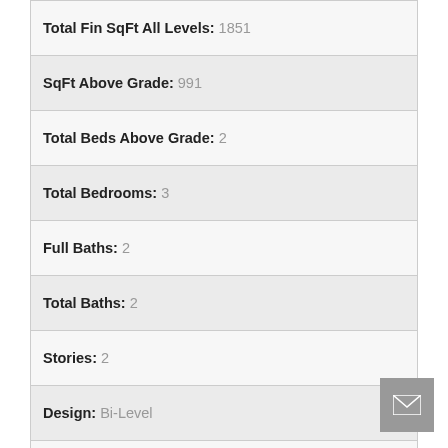| Total Fin SqFt All Levels: | 1851 |
| SqFt Above Grade: | 991 |
| Total Beds Above Grade: | 2 |
| Total Bedrooms: | 3 |
| Full Baths: | 2 |
| Total Baths: | 2 |
| Stories: | 2 |
| Design: | Bi-Level |
| School District: | Hudsonville |
| Waterfront: | No |
Tax Info
| Tax ID #: | 701803389010 |
| Taxable Value: | 66600 |